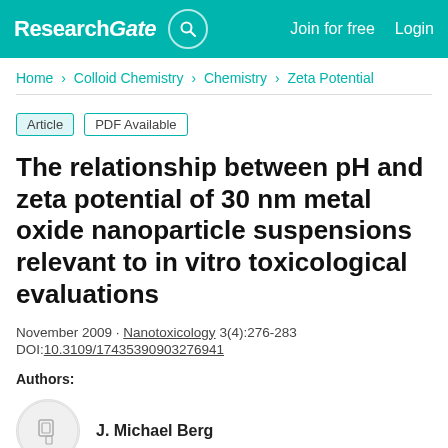ResearchGate | Join for free | Login
Home > Colloid Chemistry > Chemistry > Zeta Potential
Article  PDF Available
The relationship between pH and zeta potential of 30 nm metal oxide nanoparticle suspensions relevant to in vitro toxicological evaluations
November 2009 · Nanotoxicology 3(4):276-283
DOI:10.3109/17435390903276941
Authors:
J. Michael Berg
Amelia Romoser